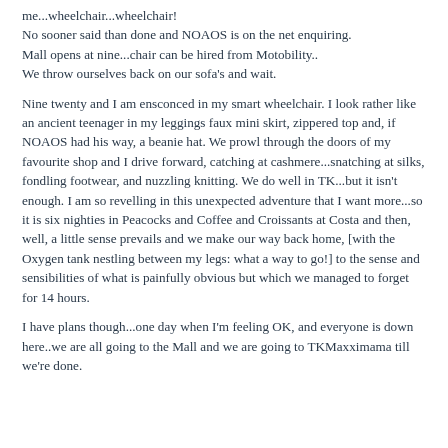me...wheelchair...wheelchair!
No sooner said than done and NOAOS is on the net enquiring.
Mall opens at nine...chair can be hired from Motobility..
We throw ourselves back on our sofa's and wait.
Nine twenty and I am ensconced in my smart wheelchair. I look rather like an ancient teenager in my leggings faux mini skirt, zippered top and, if NOAOS had his way, a beanie hat. We prowl through the doors of my favourite shop and I drive forward, catching at cashmere...snatching at silks, fondling footwear, and nuzzling knitting. We do well in TK...but it isn't enough. I am so revelling in this unexpected adventure that I want more...so it is six nighties in Peacocks and Coffee and Croissants at Costa and then, well, a little sense prevails and we make our way back home, [with the Oxygen tank nestling between my legs: what a way to go!] to the sense and sensibilities of what is painfully obvious but which we managed to forget for 14 hours.
I have plans though...one day when I'm feeling OK, and everyone is down here..we are all going to the Mall and we are going to TKMaxximama till we're done.